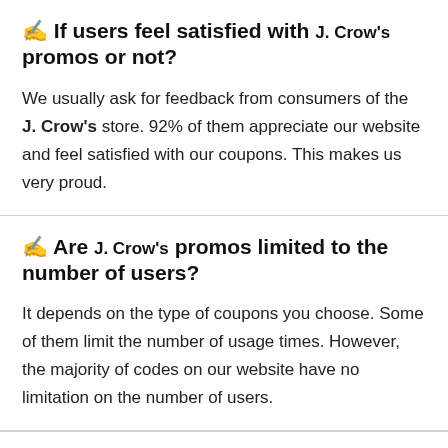✍️ If users feel satisfied with J. Crow's promos or not?
We usually ask for feedback from consumers of the J. Crow's store. 92% of them appreciate our website and feel satisfied with our coupons. This makes us very proud.
✍️ Are J. Crow's promos limited to the number of users?
It depends on the type of coupons you choose. Some of them limit the number of usage times. However, the majority of codes on our website have no limitation on the number of users.